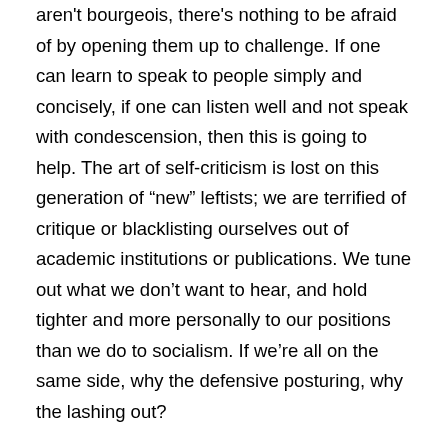aren't bourgeois, there's nothing to be afraid of by opening them up to challenge. If one can learn to speak to people simply and concisely, if one can listen well and not speak with condescension, then this is going to help. The art of self-criticism is lost on this generation of “new” leftists; we are terrified of critique or blacklisting ourselves out of academic institutions or publications. We tune out what we don’t want to hear, and hold tighter and more personally to our positions than we do to socialism. If we’re all on the same side, why the defensive posturing, why the lashing out?
There are two meanings of “taking it personally”, and one involves ego. A socialist should be eager to correct their ideological mistakes and take criticism from others. When criticism is painted as “trolling” and dismissed as “hysterical”, this is the ego talking. When the greatest stake you have in the conversation is whether or not you’re correct, then you have